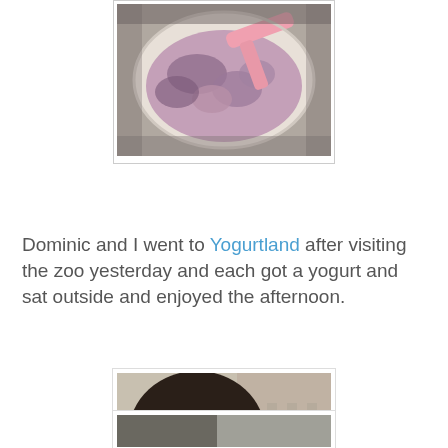[Figure (photo): Top portion of a cup of pink/purple frozen yogurt with a pink spoon, viewed from above, in a white cup.]
Dominic and I went to Yogurtland after visiting the zoo yesterday and each got a yogurt and sat outside and enjoyed the afternoon.
[Figure (photo): Close-up photo of a young child with dark brown hair hanging over their face, sitting outside with chairs and brick building in background, holding something pink.]
[Figure (photo): Partial bottom photo, mostly cut off at page edge.]